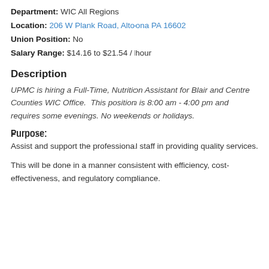Department: WIC All Regions
Location: 206 W Plank Road, Altoona PA 16602
Union Position: No
Salary Range: $14.16 to $21.54 / hour
Description
UPMC is hiring a Full-Time, Nutrition Assistant for Blair and Centre Counties WIC Office.  This position is 8:00 am - 4:00 pm and requires some evenings.  No weekends or holidays.
Purpose:
Assist and support the professional staff in providing quality services.
This will be done in a manner consistent with efficiency, cost-effectiveness, and regulatory compliance.